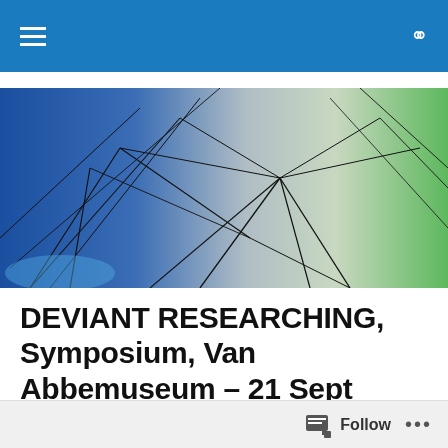Navigation header with hamburger menu and search icon
[Figure (photo): Art installation photo showing dark string/wire sculptures suspended against blue and green lit background in a gallery space]
DEVIANT RESEARCHING, Symposium, Van Abbemuseum – 21 Sept 2017
Deviant Researching is part of
Follow ...